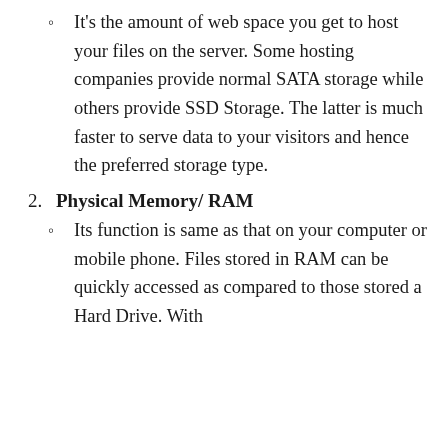It's the amount of web space you get to host your files on the server. Some hosting companies provide normal SATA storage while others provide SSD Storage. The latter is much faster to serve data to your visitors and hence the preferred storage type.
2. Physical Memory/ RAM
Its function is same as that on your computer or mobile phone. Files stored in RAM can be quickly accessed as compared to those stored a Hard Drive. With